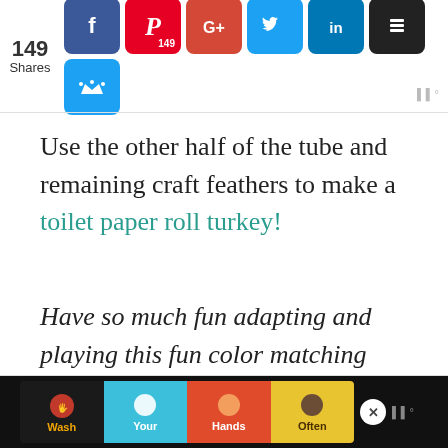[Figure (other): Social sharing bar with 149 shares count, and social media buttons: Facebook, Pinterest (149), Google+, Twitter, LinkedIn, Buffer, and a crown/royalty button]
Use the other half of the tube and remaining craft feathers to make a toilet paper roll turkey!
Have so much fun adapting and playing this fun color matching turkey feather game with kids.
[Figure (other): Advertisement banner: Wash Your Hands Often with colorful hand illustrations on black background with a close button]